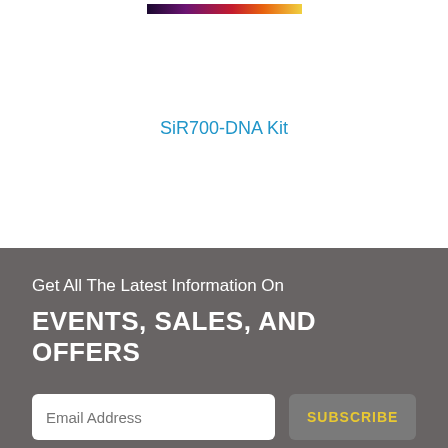[Figure (photo): Fluorescence microscopy image showing colorful cell staining, partially visible at top of page]
SiR700-DNA Kit
Get All The Latest Information On
EVENTS, SALES, AND OFFERS